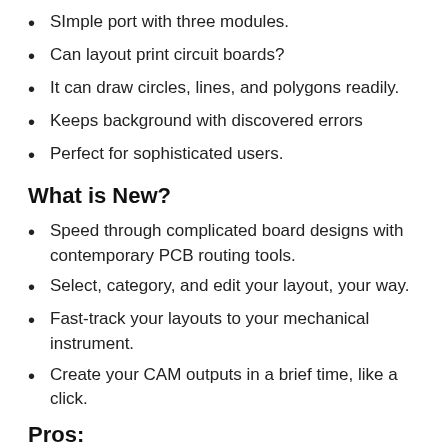SImple port with three modules.
Can layout print circuit boards?
It can draw circles, lines, and polygons readily.
Keeps background with discovered errors
Perfect for sophisticated users.
What is New?
Speed through complicated board designs with contemporary PCB routing tools.
Select, category, and edit your layout, your way.
Fast-track your layouts to your mechanical instrument.
Create your CAM outputs in a brief time, like a click.
Pros: